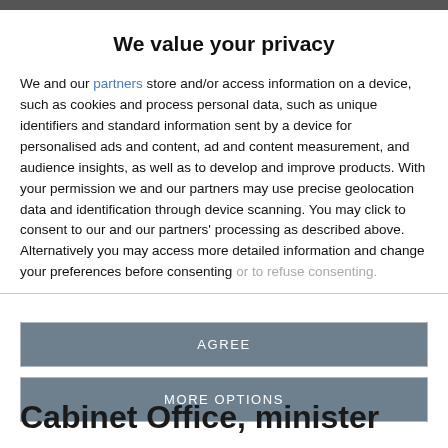We value your privacy
We and our partners store and/or access information on a device, such as cookies and process personal data, such as unique identifiers and standard information sent by a device for personalised ads and content, ad and content measurement, and audience insights, as well as to develop and improve products. With your permission we and our partners may use precise geolocation data and identification through device scanning. You may click to consent to our and our partners' processing as described above. Alternatively you may access more detailed information and change your preferences before consenting or to refuse consenting.
AGREE
MORE OPTIONS
Cabinet Office, minister